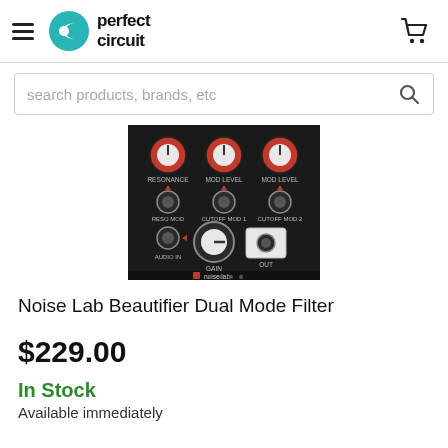perfect circuit
search products, brands, etc
[Figure (photo): Noise Lab Beautifier Dual Mode Filter eurorack module panel showing knobs labeled RESONANCE, MOD LEVEL, MOD LEVEL, RESO MOD, CUTOFF MOD 1, CUTOFF MOD 2, AUDIO IN, GAIN, and OUT jack, on a black panel with noise lab branding]
Noise Lab Beautifier Dual Mode Filter
$229.00
In Stock
Available immediately